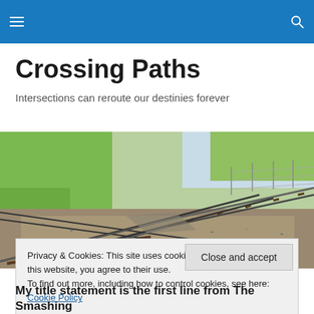Crossing Paths — navigation header bar
Crossing Paths
Intersections can reroute our destinies forever
[Figure (photo): Aerial view of crossing railway tracks with gravel, wooden sleepers, and green grass in background]
Privacy & Cookies: This site uses cookies. By continuing to use this website, you agree to their use.
To find out more, including how to control cookies, see here: Cookie Policy
Close and accept
My title statement is the first line from The Smashing